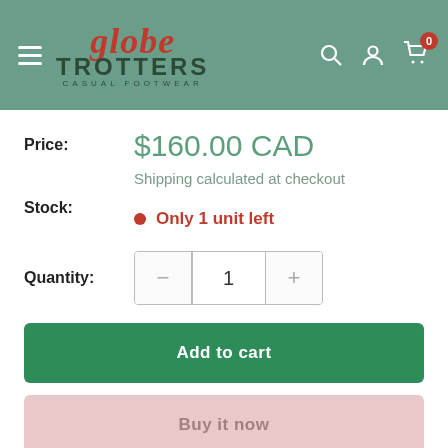[Figure (logo): Globe Trotters Casual Footwear logo and navigation header with hamburger menu, search, account and cart icons on a sage green background]
Price: $160.00 CAD
Shipping calculated at checkout
Stock: Only 1 unit left
Quantity: 1
Add to cart
Buy it now